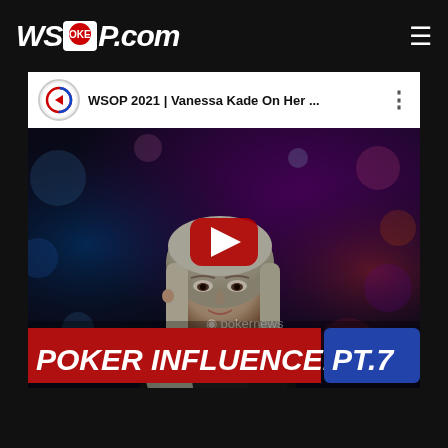WSOP.COM
WSOP 2021 | Vanessa Kade On Her ...
[Figure (screenshot): YouTube video thumbnail showing a blonde woman at a poker table. Red banner at the bottom reads 'POKER INFLUENCERS PT.7'. PokerNews watermark visible. YouTube play button in center. Channel is WSOP/PokerNews.]